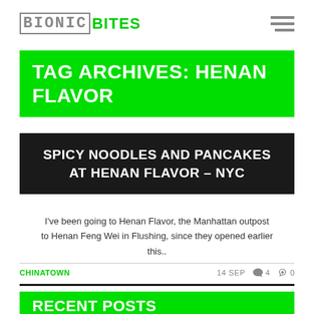BIONICBITES
TAG ARCHIVES: HENAN FLAVOR
SPICY NOODLES AND PANCAKES AT HENAN FLAVOR – NYC
I've been going to Henan Flavor, the Manhattan outpost to Henan Feng Wei in Flushing, since they opened earlier this..
CHINATOWN   14 SEP   4   0
RECENT POSTS